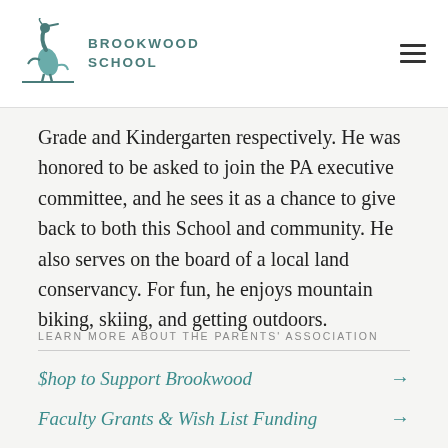BROOKWOOD SCHOOL
Grade and Kindergarten respectively. He was honored to be asked to join the PA executive committee, and he sees it as a chance to give back to both this School and community. He also serves on the board of a local land conservancy. For fun, he enjoys mountain biking, skiing, and getting outdoors.
LEARN MORE ABOUT THE PARENTS' ASSOCIATION
$hop to Support Brookwood →
Faculty Grants & Wish List Funding →